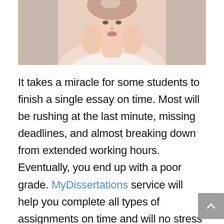[Figure (photo): Cropped photo of a young woman in a white off-shoulder top, resting her chin/cheeks on her hands, looking upward, against a light grey background. Only the upper body and face are visible; the top of the image is cut off showing partial view.]
It takes a miracle for some students to finish a single essay on time. Most will be rushing at the last minute, missing deadlines, and almost breaking down from extended working hours. Eventually, you end up with a poor grade. MyDissertations service will help you complete all types of assignments on time and will no stress at